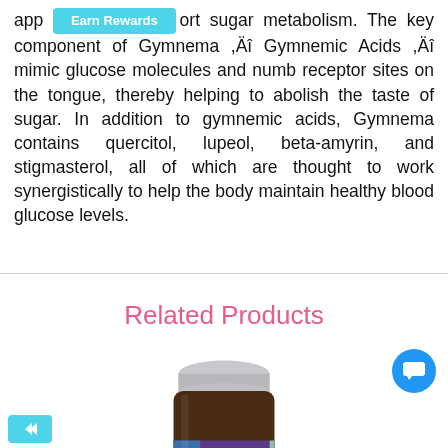app [Earn Rewards] ort sugar metabolism. The key component of Gymnema ,Äî Gymnemic Acids ,Äî mimic glucose molecules and numb receptor sites on the tongue, thereby helping to abolish the taste of sugar. In addition to gymnemic acids, Gymnema contains quercitol, lupeol, beta-amyrin, and stigmasterol, all of which are thought to work synergistically to help the body maintain healthy blood glucose levels.
Related Products
[Figure (photo): A brown supplement bottle with a gray cap, labeled 'New Chapter' with a purple label. Partially visible nutrition facts panel on the right side.]